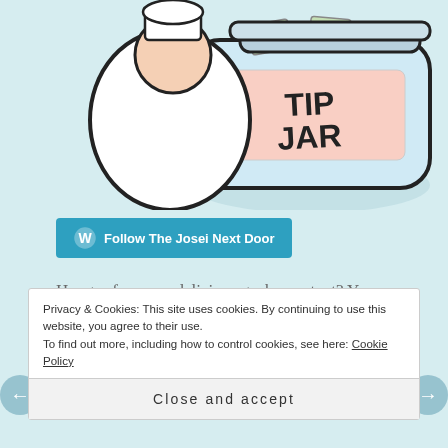[Figure (illustration): Cartoon illustration of a tip jar with paper money inside, labeled 'TIP JAR', partially cropped at top]
Follow The Josei Next Door
Hungry for more delicious geeky content? You can also hang out with me on Tumblr and Twitter, peruse my lists on anime-planet, or kick it old-school and shoot me an email.
Privacy & Cookies: This site uses cookies. By continuing to use this website, you agree to their use.
To find out more, including how to control cookies, see here: Cookie Policy
Close and accept